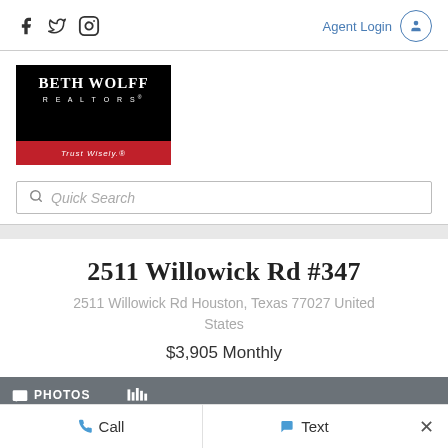f  Twitter  Instagram    Agent Login
[Figure (logo): Beth Wolff Realtors logo with black background, red stripe, and tagline 'Trust Wisely.']
Quick Search
2511 Willowick Rd #347
2511 Willowick Rd Houston, Texas 77027 United States
$3,905 Monthly
Call   Text